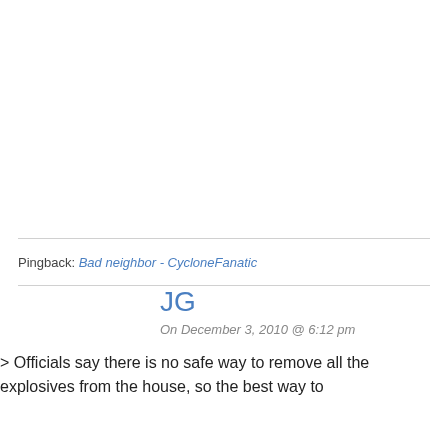Pingback: Bad neighbor - CycloneFanatic
JG
On December 3, 2010 @ 6:12 pm
> Officials say there is no safe way to remove all the explosives from the house, so the best way to